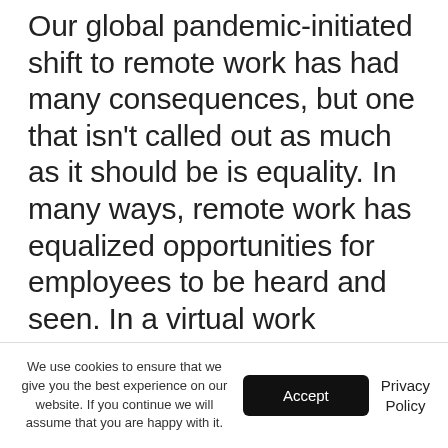Our global pandemic-initiated shift to remote work has had many consequences, but one that isn't called out as much as it should be is equality. In many ways, remote work has equalized opportunities for employees to be heard and seen. In a virtual work environment, every meeting looks the same, and each person takes up the same space on the screen, from the CEO to the intern.
We use cookies to ensure that we give you the best experience on our website. If you continue we will assume that you are happy with it.
Accept
Privacy Policy